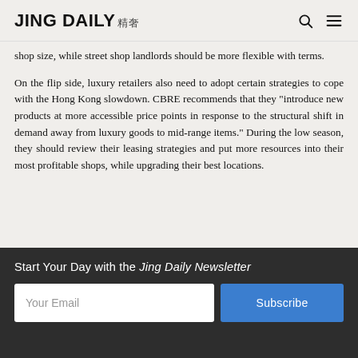JING DAILY 精奢
shop size, while street shop landlords should be more flexible with terms.
On the flip side, luxury retailers also need to adopt certain strategies to cope with the Hong Kong slowdown. CBRE recommends that they "introduce new products at more accessible price points in response to the structural shift in demand away from luxury goods to mid-range items." During the low season, they should review their leasing strategies and put more resources into their most profitable shops, while upgrading their best locations.
Start Your Day with the Jing Daily Newsletter